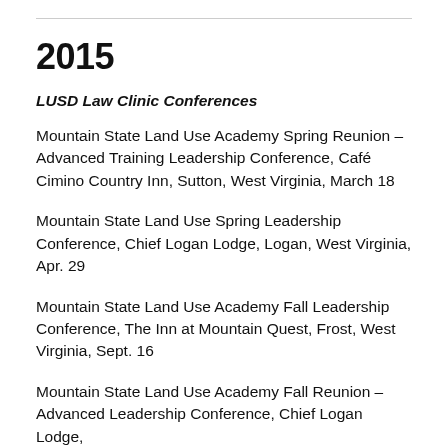2015
LUSD Law Clinic Conferences
Mountain State Land Use Academy Spring Reunion – Advanced Training Leadership Conference, Café Cimino Country Inn, Sutton, West Virginia, March 18
Mountain State Land Use Spring Leadership Conference, Chief Logan Lodge, Logan, West Virginia, Apr. 29
Mountain State Land Use Academy Fall Leadership Conference, The Inn at Mountain Quest, Frost, West Virginia, Sept. 16
Mountain State Land Use Academy Fall Reunion – Advanced Leadership Conference, Chief Logan Lodge,